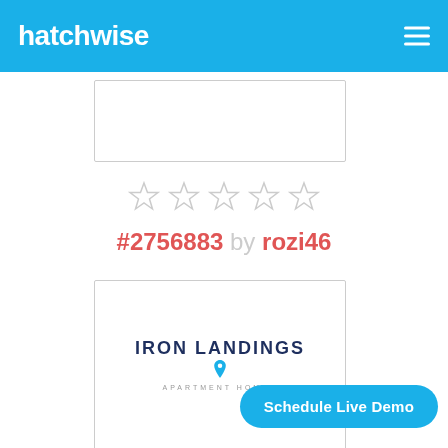hatchwise
[Figure (screenshot): Partially visible white card/image box with grey border at top]
[Figure (other): Five empty (unfilled) star rating icons in grey]
#2756883 by rozi46
[Figure (logo): Iron Landings Apartment Homes logo — bold dark navy text with location pin icon and grey subtitle]
Schedule Live Demo